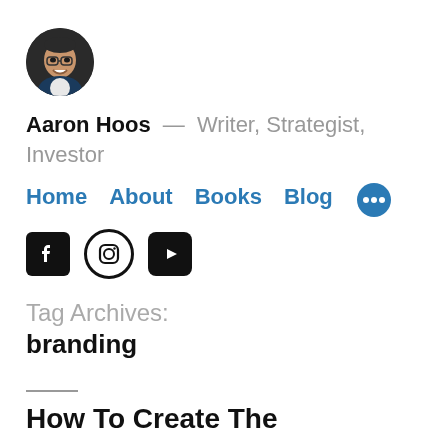[Figure (photo): Circular avatar photo of Aaron Hoos, a man with glasses and short brown hair, smiling, wearing a suit]
Aaron Hoos — Writer, Strategist, Investor
Home  About  Books  Blog  •••
[Figure (infographic): Social media icons: Facebook (black square with F), Instagram (black circle outline with camera), YouTube (black rounded rectangle with play triangle)]
Tag Archives:
branding
How To Create The...